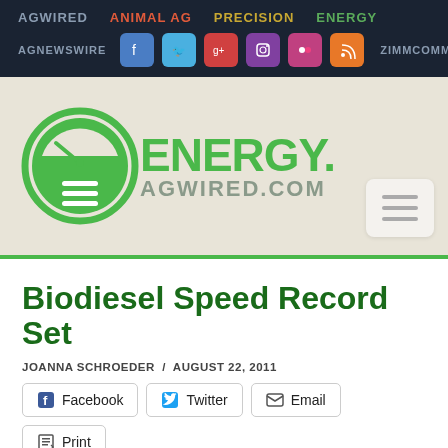AGWIRED  ANIMAL AG  PRECISION  ENERGY  AGNEWSWIRE  ZIMMCOMM
[Figure (logo): Energy.AgWired.com logo — green circular gauge icon with ENERGY. in large green text and AGWIRED.COM below in gray]
Biodiesel Speed Record Set
JOANNA SCHROEDER / AUGUST 22, 2011
Facebook  Twitter  Email  Print
Several races have been taking place in Bonneville Salt Flats in Utah and last week Hajek Motorsports broke two